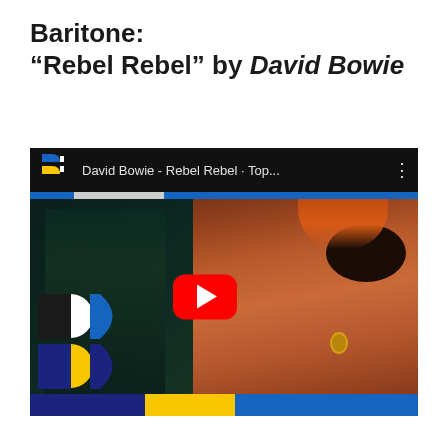Baritone:
"Rebel Rebel" by David Bowie
[Figure (screenshot): YouTube-style video player showing David Bowie - Rebel Rebel thumbnail. The player has a black top bar with a stylized B logo and the title 'David Bowie - Rebel Rebel · Top...' with a three-dot menu. The thumbnail shows David Bowie with red/orange hair and a black eye patch on the right side, and a darker teal-tinted background figure on the left. A red YouTube play button is centered. Baritone (stylized B) logos appear overlaid on the bottom-left of the video. The bottom has blue and yellow color bars.]